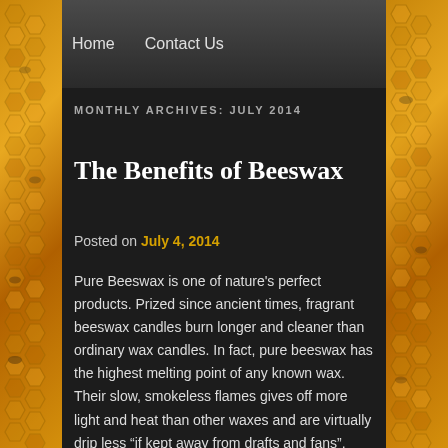Home   Contact Us
MONTHLY ARCHIVES: JULY 2014
The Benefits of Beeswax
Posted on July 4, 2014
Pure Beeswax is one of nature's perfect products. Prized since ancient times, fragrant beeswax candles burn longer and cleaner than ordinary wax candles. In fact, pure beeswax has the highest melting point of any known wax. Their slow, smokeless flames gives off more light and heat than other waxes and are virtually drip less “if kept away from drafts and fans”. Made by industrious honey bees from the nectar of flowers, beeswax has a sweet, natural fragrance all its own. Initially beeswax candles may seem to be more expensive than paraffin candles, yet this is not so. Paraffin wax burns away much quicker than beeswax